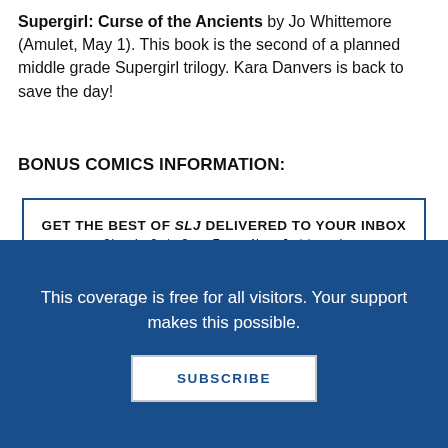Supergirl: Curse of the Ancients by Jo Whittemore (Amulet, May 1). This book is the second of a planned middle grade Supergirl trilogy. Kara Danvers is back to save the day!
BONUS COMICS INFORMATION:
[Figure (other): Advertisement box with blue border. Text: GET THE BEST OF SLJ DELIVERED TO YOUR INBOX. Check Out Our Free Newsletters! LEARN MORE button.]
The Eisner Award nominations have been released
This coverage is free for all visitors. Your support makes this possible.
SUBSCRIBE